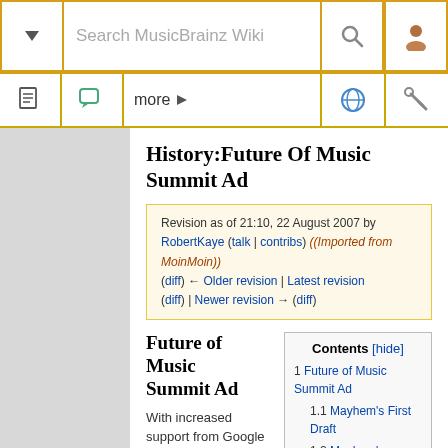Search MusicBrainz Wiki
History:Future Of Music Summit Ad
Revision as of 21:10, 22 August 2007 by RobertKaye (talk | contribs) ((Imported from MoinMoin))
(diff) ← Older revision | Latest revision (diff) | Newer revision → (diff)
Future of Music Summit Ad
With increased support from Google we have a little money to start making noise about MusicBrainz. In
Contents [hide]
1 Future of Music Summit Ad
1.1 Mayhem's First Draft
1.2 Mayhem's Revised Draft
1.3 Rachel